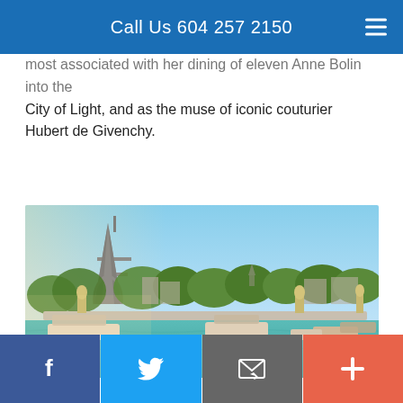Call Us 604 257 2150
most associated with her dining of eleven Anne Bolin into the City of Light, and as the muse of iconic couturier Hubert de Givenchy.
[Figure (photo): Scenic view of Paris showing the Eiffel Tower in the background, the Seine River in the foreground with boats, and the Pont Alexandre III bridge spanning the river, surrounded by trees on a clear sunny day.]